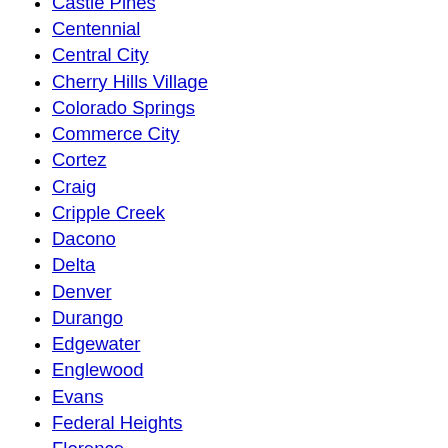Castle Pines
Centennial
Central City
Cherry Hills Village
Colorado Springs
Commerce City
Cortez
Craig
Cripple Creek
Dacono
Delta
Denver
Durango
Edgewater
Englewood
Evans
Federal Heights
Florence
Fort Collins
Fort Lupton
Fort Morgan
Fountain
Fruita
Glendale
Glenwood Springs